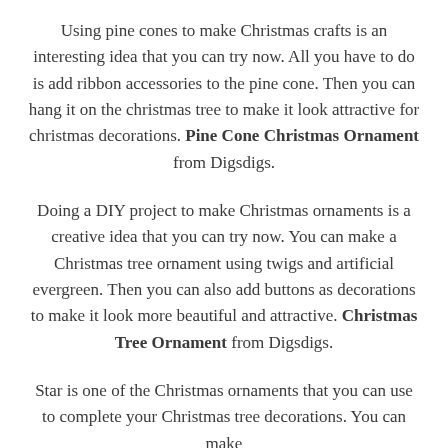Using pine cones to make Christmas crafts is an interesting idea that you can try now. All you have to do is add ribbon accessories to the pine cone. Then you can hang it on the christmas tree to make it look attractive for christmas decorations. Pine Cone Christmas Ornament from Digsdigs.
Doing a DIY project to make Christmas ornaments is a creative idea that you can try now. You can make a Christmas tree ornament using twigs and artificial evergreen. Then you can also add buttons as decorations to make it look more beautiful and attractive. Christmas Tree Ornament from Digsdigs.
Star is one of the Christmas ornaments that you can use to complete your Christmas tree decorations. You can make